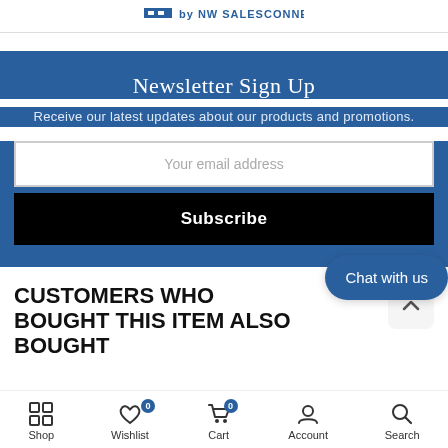by NW SALESCONNECTION
Newsletter Sign Up
Receive our latest updates about our products and promotions.
Your email address
Subscribe
CUSTOMERS WHO BOUGHT THIS ITEM ALSO BOUGHT
Chat with us
Shop  Wishlist  Cart  Account  Search